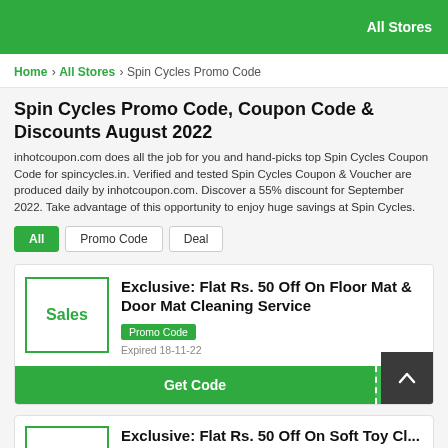All Stores
Home > All Stores > Spin Cycles Promo Code
Spin Cycles Promo Code, Coupon Code & Discounts August 2022
inhotcoupon.com does all the job for you and hand-picks top Spin Cycles Coupon Code for spincycles.in. Verified and tested Spin Cycles Coupon & Voucher are produced daily by inhotcoupon.com. Discover a 55% discount for September 2022. Take advantage of this opportunity to enjoy huge savings at Spin Cycles.
All
Promo Code
Deal
Exclusive: Flat Rs. 50 Off On Floor Mat & Door Mat Cleaning Service
Promo Code
Expired 18-11-22
Get Code
Exclusive: Flat Rs. 50 Off On Soft Toy Cl...